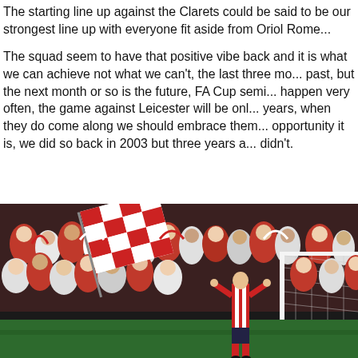The starting line up against the Clarets could be said to be our strongest line up with everyone fit aside from Oriol Rome...
The squad seem to have that positive vibe back and it is what we can achieve not what we can't, the last three mo... past, but the next month or so is the future, FA Cup semi... happen very often, the game against Leicester will be on... years, when they do come along we should embrace the... opportunity it is, we did so back in 2003 but three years a... didn't.
[Figure (photo): A football stadium crowd photo showing fans in red and white colours waving large checkered flags. In the foreground, a player in a red and white striped kit stands near a goalpost with arms raised, facing the celebrating crowd.]